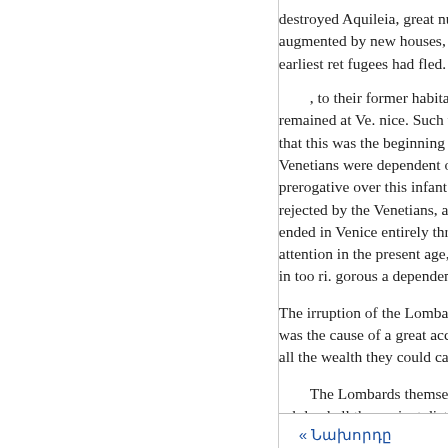destroyed Aquileia, great numbers augmented by new houses, took earliest refugees had fled. On th
, to their former habitations; b remained at Ve. nice. Such was t that this was the beginning of the Venetians were dependent on Pa prerogative over this infant state rejected by the Venetians, as arbi ended in Venice entirely throwin attention in the present age, to se in too ri. gorous a dependence.
The irruption of the Lombards in was the cause of a great accessio all the wealth they could carry, a
The Lombards themselves, wh subdued all the ancient district o that an attempt a. gainst it would important conquests, they found squadrons of small vessels could and treaties were formed occasio
« Նախորդը